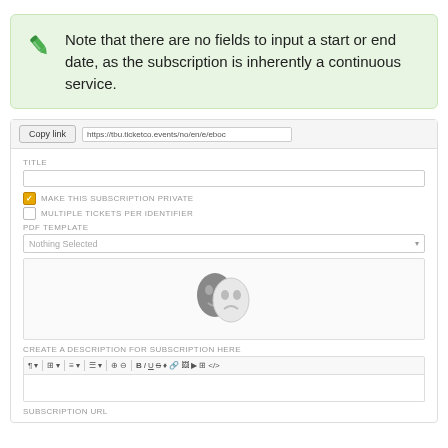Note that there are no fields to input a start or end date, as the subscription is inherently a continuous service.
[Figure (screenshot): Form interface showing URL bar with 'Copy link' button and URL field, TITLE text input, MAKE THIS SUBSCRIPTION PRIVATE checkbox (checked), MULTIPLE TICKETS PER IDENTIFIER checkbox (unchecked), PDF TEMPLATE dropdown with 'Nothing Selected', an image placeholder with theater masks icon, CREATE A DESCRIPTION FOR SUBSCRIPTION HERE rich text editor with toolbar, and SUBSCRIPTION URL label at bottom.]